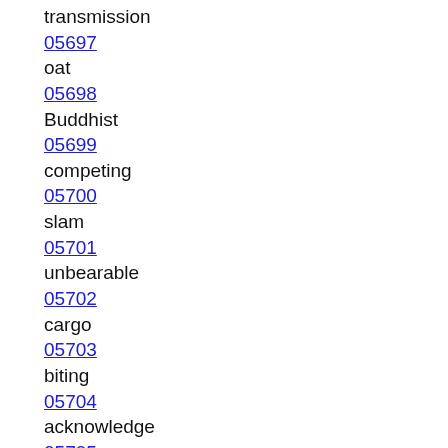transmission
05697
oat
05698
Buddhist
05699
competing
05700
slam
05701
unbearable
05702
cargo
05703
biting
05704
acknowledge
05705
jolly
05706
neighboring
05707